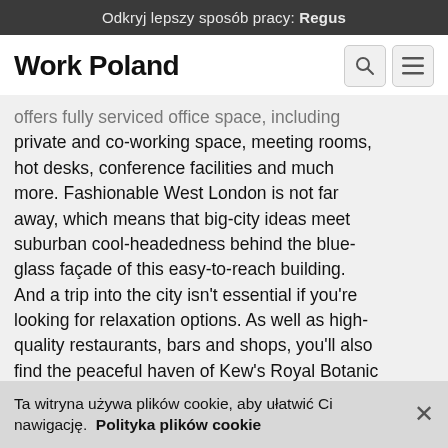Odkryj lepszy sposób pracy: Regus
Work Poland
offers fully serviced office space, including private and co-working space, meeting rooms, hot desks, conference facilities and much more. Fashionable West London is not far away, which means that big-city ideas meet suburban cool-headedness behind the blue-glass façade of this easy-to-reach building. And a trip into the city isn't essential if you're looking for relaxation options. As well as high-quality restaurants, bars and shops, you'll also find the peaceful haven of Kew's Royal Botanic Gardens.
Ta witryna używa plików cookie, aby ułatwić Ci nawigację. Polityka plików cookie